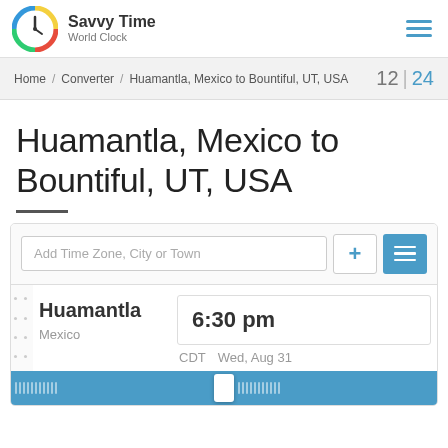Savvy Time World Clock
Home / Converter / Huamantla, Mexico to Bountiful, UT, USA   12 | 24
Huamantla, Mexico to Bountiful, UT, USA
Add Time Zone, City or Town
Huamantla   6:30 pm   Mexico   CDT   Wed, Aug 31